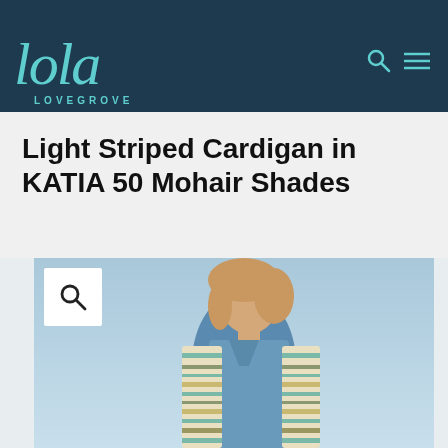lola LOVEGROVE
Light Striped Cardigan in KATIA 50 Mohair Shades
[Figure (photo): Woman with windswept blonde hair wearing a light striped mohair cardigan over a denim shirt, posed against a light blue sky background. A magnifying glass search icon appears in a white box overlay in the upper-left corner of the image.]